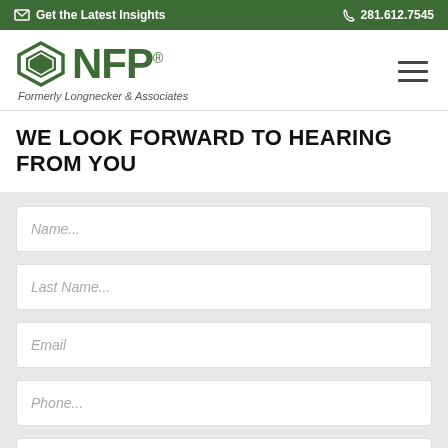Get the Latest Insights  281.612.7545
[Figure (logo): NFP logo with diamond icon, formerly Longnecker & Associates]
WE LOOK FORWARD TO HEARING FROM YOU
Name...
Last Name...
Email
Phone...
Company Name